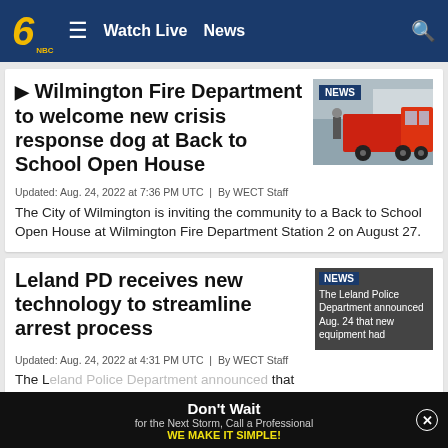6 NBC  ≡  Watch Live  News  🔍
▶ Wilmington Fire Department to welcome new crisis response dog at Back to School Open House
[Figure (photo): NEWS badge overlay on photo of a red fire truck parked at a fire station]
Updated: Aug. 24, 2022 at 7:36 PM UTC  |  By WECT Staff
The City of Wilmington is inviting the community to a Back to School Open House at Wilmington Fire Department Station 2 on August 27.
Leland PD receives new technology to streamline arrest process
[Figure (photo): NEWS badge with overlay text: The Leland Police Department announced Aug. 24 that new equipment had]
Updated: Aug. 24, 2022 at 4:31 PM UTC  |  By WECT Staff
The L... that new e...
Don't Wait for the Next Storm, Call a Professional WE MAKE IT SIMPLE!